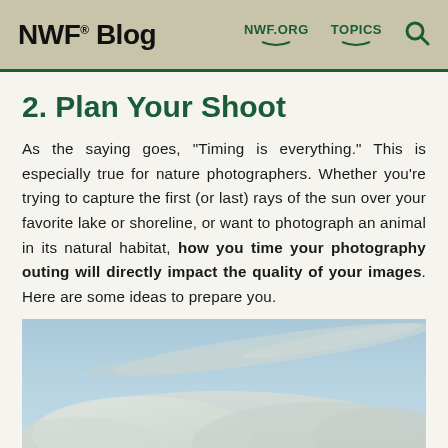NWF® Blog   NWF.ORG   TOPICS
2. Plan Your Shoot
As the saying goes, “Timing is everything.” This is especially true for nature photographers. Whether you’re trying to capture the first (or last) rays of the sun over your favorite lake or shoreline, or want to photograph an animal in its natural habitat, how you time your photography outing will directly impact the quality of your images. Here are some ideas to prepare you.
[Figure (photo): Sky with clouds and blue sky, nature photography scene]